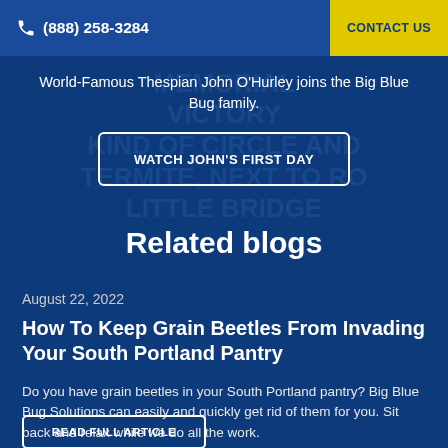(888) 258-3284  CONTACT US
World-Famous Thespian John O'Hurley joins the Big Blue Bug family.
WATCH JOHN'S FIRST DAY
Related blogs
August 22, 2022
How To Keep Grain Beetles From Invading Your South Portland Pantry
Do you have grain beetles in your South Portland pantry? Big Blue Bug Solutions can easily and quickly get rid of them for you. Sit back and relax while we do all the work.
READ FULL ARTICLE